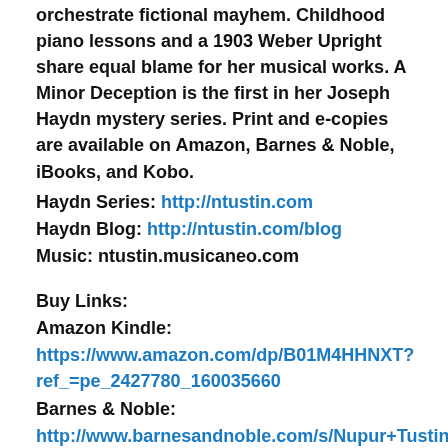orchestrate fictional mayhem. Childhood piano lessons and a 1903 Weber Upright share equal blame for her musical works. A Minor Deception is the first in her Joseph Haydn mystery series. Print and e-copies are available on Amazon, Barnes & Noble, iBooks, and Kobo.
Haydn Series: http://ntustin.com
Haydn Blog: http://ntustin.com/blog
Music: ntustin.musicaneo.com
Buy Links:
Amazon Kindle:
https://www.amazon.com/dp/B01M4HHNXT?ref_=pe_2427780_160035660
Barnes & Noble:
http://www.barnesandnoble.com/s/Nupur+Tustin?